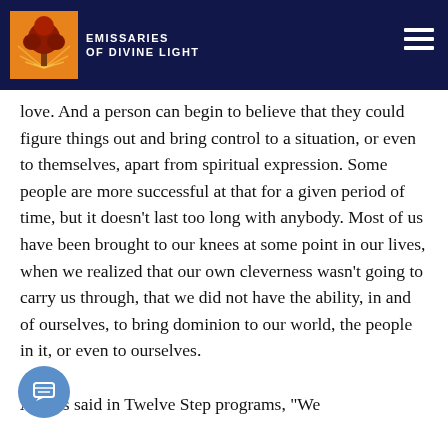Emissaries of Divine Light
love. And a person can begin to believe that they could figure things out and bring control to a situation, or even to themselves, apart from spiritual expression. Some people are more successful at that for a given period of time, but it doesn't last too long with anybody. Most of us have been brought to our knees at some point in our lives, when we realized that our own cleverness wasn't going to carry us through, that we did not have the ability, in and of ourselves, to bring dominion to our world, the people in it, or even to ourselves.

As it is said in Twelve Step programs, "We
[Figure (logo): Emissaries of Divine Light logo with tree on orange background]